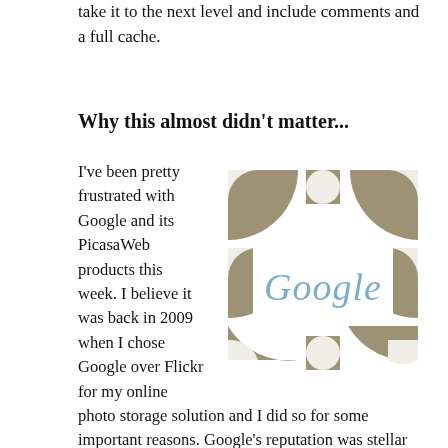take it to the next level and include comments and a full cache.
Why this almost didn't matter...
[Figure (logo): Google logo rendered as a mosaic/pinwheel pattern of tan/brown geometric shapes with the word 'Google' overlaid in blue text]
I've been pretty frustrated with Google and its PicasaWeb products this week. I believe it was back in 2009 when I chose Google over Flickr for my online photo storage solution and I did so for some important reasons. Google's reputation was stellar back then, I thought Yahoo would bite the dust any day then (still do), and Google was